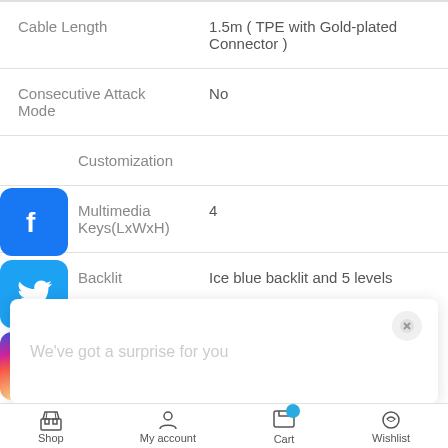| Attribute | Value |
| --- | --- |
| Cable Length | 1.5m ( TPE with Gold-plated Connector ) |
| Consecutive Attack Mode | No |
| Customization |  |
| Multimedia Keys(LxWxH) | 4 |
| Backlit | Ice blue backlit and 5 levels |
[Figure (screenshot): Social media share icons: Facebook, Twitter, Instagram, YouTube]
We've got a surprise for you
Shop   My account   Cart   Wishlist